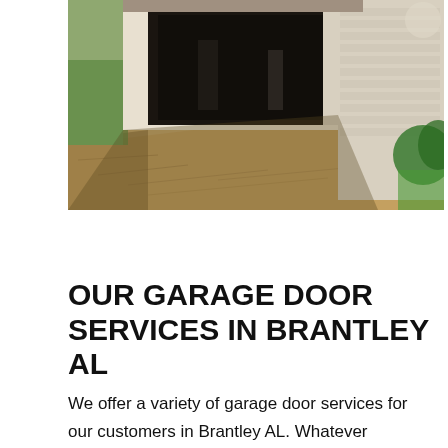[Figure (photo): Exterior photo of a house with an open garage door showing a dark interior. The driveway in the foreground is sandy/dirt-covered. Brick wall visible on the right side with green shrubbery. Shadows cast across the driveway.]
OUR GARAGE DOOR SERVICES IN BRANTLEY AL
We offer a variety of garage door services for our customers in Brantley AL. Whatever problems your garage door is having, All Access Overhead Door can